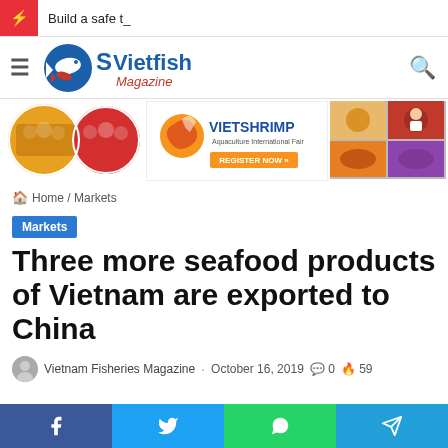Build a safe t_
[Figure (logo): Vietfish Magazine logo with fish icon in blue and red]
[Figure (photo): Three banner images: aquaculture event photo collage, VietShrimp Aquaculture International Fair banner, seafood product collage]
Home / Markets
Markets
Three more seafood products of Vietnam are exported to China
Vietnam Fisheries Magazine · October 16, 2019 · 0 comments · 59 hot